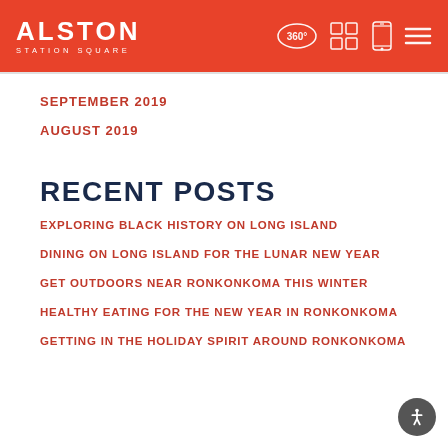ALSTON STATION SQUARE
SEPTEMBER 2019
AUGUST 2019
RECENT POSTS
EXPLORING BLACK HISTORY ON LONG ISLAND
DINING ON LONG ISLAND FOR THE LUNAR NEW YEAR
GET OUTDOORS NEAR RONKONKOMA THIS WINTER
HEALTHY EATING FOR THE NEW YEAR IN RONKONKOMA
GETTING IN THE HOLIDAY SPIRIT AROUND RONKONKOMA